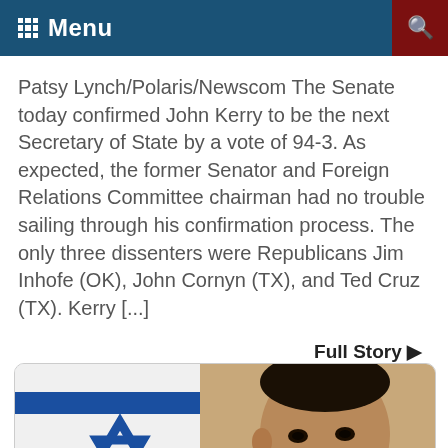Menu
Patsy Lynch/Polaris/Newscom The Senate today confirmed John Kerry to be the next Secretary of State by a vote of 94-3. As expected, the former Senator and Foreign Relations Committee chairman had no trouble sailing through his confirmation process. The only three dissenters were Republicans Jim Inhofe (OK), John Cornyn (TX), and Ted Cruz (TX). Kerry [...]
Full Story ▶
[Figure (photo): Photo of a man speaking in front of an Israeli flag (Star of David visible), with a scroll indicator on the right side.]